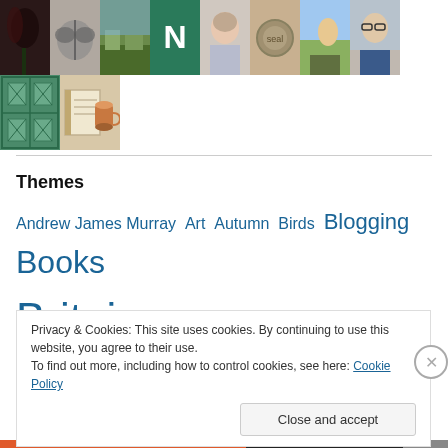[Figure (photo): Row of thumbnail images/avatars at the top of the page, including flowers, textures, landscapes, profile icons, and people]
[Figure (photo): Second row of two thumbnail images: a quilt pattern and a notebook with coffee cup]
Themes
Andrew James Murray  Art  Autumn  Birds  Blogging  Books  Britain  Childhood  Children  Christian  Christmas  Connections  Coronavirus  Creative  Death  Dogs  England
Privacy & Cookies: This site uses cookies. By continuing to use this website, you agree to their use.
To find out more, including how to control cookies, see here: Cookie Policy
Close and accept